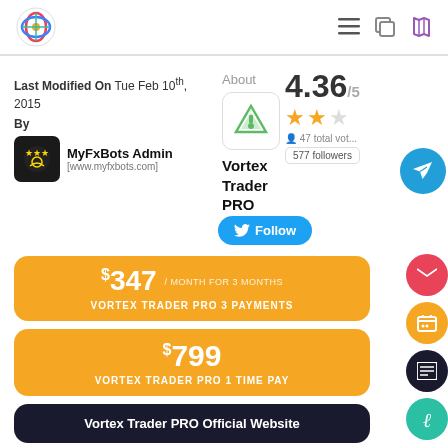MyFxBots header navigation
Last Modified On Tue Feb 10th, 2015
By
MyFxBots Admin [www.myfxbots.com]
About
Vortex Trader PRO
4.36/5
47 total votes
577 followers
Follow
$347 / MONTH FOR 3 MONTHS
VORTEX TRADER PRO 3 PAYMENTS
$799
VORTEX TRADER PRO 1 TIME PAY
Vortex Trader PRO Official Website
Vortex Trader PRO Blog Section